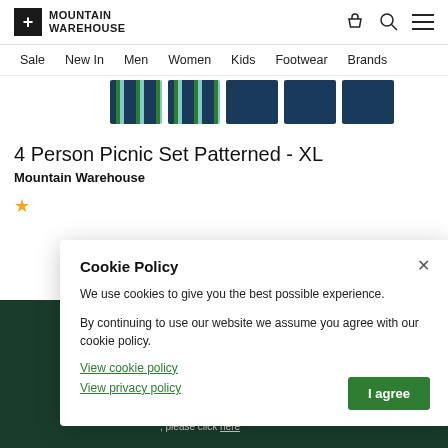Mountain Warehouse
Sale  New In  Men  Women  Kids  Footwear  Brands
[Figure (photo): Product image thumbnails of the 4 Person Picnic Set Patterned - XL showing striped blue/teal pattern from multiple angles]
4 Person Picnic Set Patterned - XL
Mountain Warehouse
[Figure (screenshot): Cookie policy modal dialog with title 'Cookie Policy', close button, body text about cookie usage, links to View cookie policy and View privacy policy, and an 'I agree' button. Behind it is a dark green banner about shopping on the US site.]
Cookie Policy

We use cookies to give you the best possible experience.

By continuing to use our website we assume you agree with our cookie policy.

View cookie policy
View privacy policy

I agree
on our US site
, please click here